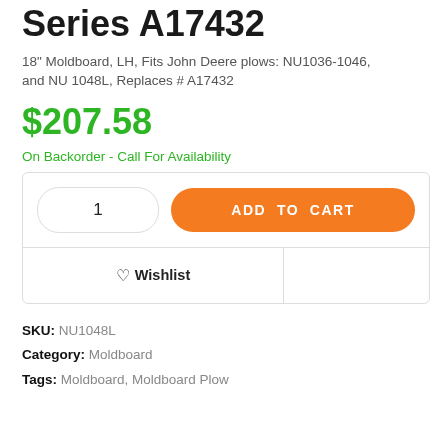Series A17432
18" Moldboard, LH, Fits John Deere plows: NU1036-1046, and NU 1048L, Replaces # A17432
$207.58
On Backorder - Call For Availability
1  ADD TO CART
♡Wishlist
SKU: NU1048L
Category: Moldboard
Tags: Moldboard, Moldboard Plow